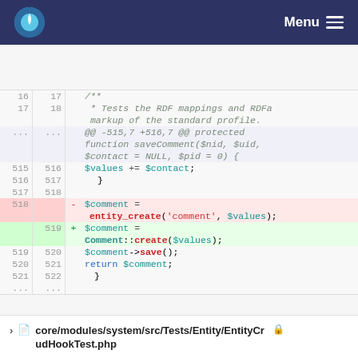Menu
[Figure (screenshot): Code diff view showing changes to a PHP file. Lines 16-17 show a docblock comment. An ellipsis row shows context. Lines 515-517 show code context. Line 518 (removed) shows entity_create call. Line 519 (added) shows Comment::create call. Lines 519-521 show further context.]
core/modules/system/src/Tests/Entity/EntityCrudHookTest.php